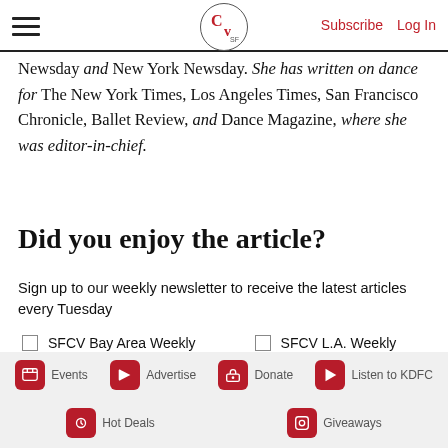CV SF | Subscribe | Log In
Newsday and New York Newsday. She has written on dance for The New York Times, Los Angeles Times, San Francisco Chronicle, Ballet Review, and Dance Magazine, where she was editor-in-chief.
Did you enjoy the article?
Sign up to our weekly newsletter to receive the latest articles every Tuesday
SFCV Bay Area Weekly   SFCV L.A. Weekly
First Name * Last Name *